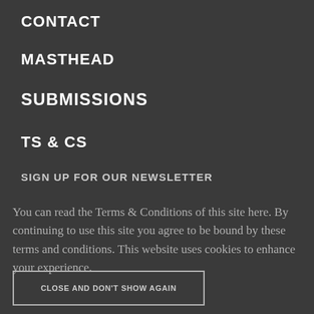CONTACT
MASTHEAD
SUBMISSIONS
TS & CS
SIGN UP FOR OUR NEWSLETTER
You can read the Terms & Conditions of this site here. By continuing to use this site you agree to be bound by these terms and conditions. This website uses cookies to enhance your experience.
CLOSE AND DON'T SHOW AGAIN